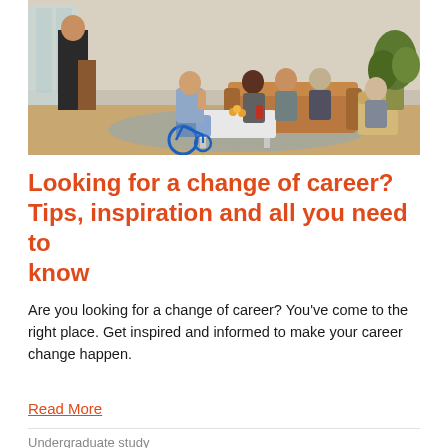[Figure (photo): Group of diverse professionals having a meeting in a modern office lounge area; one person in a wheelchair, others seated on sofas and chairs around a coffee table with plants in background]
Looking for a change of career? Tips, inspiration and all you need to know
Are you looking for a change of career? You've come to the right place. Get inspired and informed to make your career change happen.
Read More
Undergraduate study